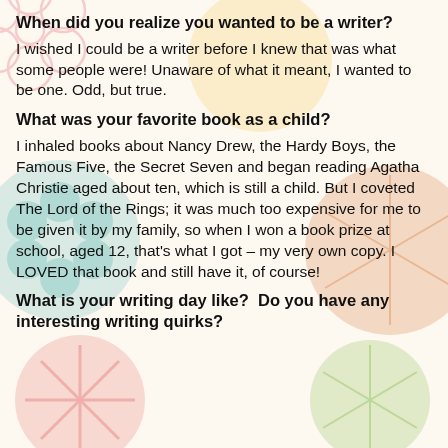[Figure (illustration): Decorative background with colorful circular flower and geometric shapes in pink, teal, yellow, orange, and green tones.]
When did you realize you wanted to be a writer?
I wished I could be a writer before I knew that was what some people were! Unaware of what it meant, I wanted to be one. Odd, but true.
What was your favorite book as a child?
I inhaled books about Nancy Drew, the Hardy Boys, the Famous Five, the Secret Seven and began reading Agatha Christie aged about ten, which is still a child. But I coveted The Lord of the Rings; it was much too expensive for me to be given it by my family, so when I won a book prize at school, aged 12, that's what I got – my very own copy. I LOVED that book and still have it, of course!
What is your writing day like?  Do you have any interesting writing quirks?